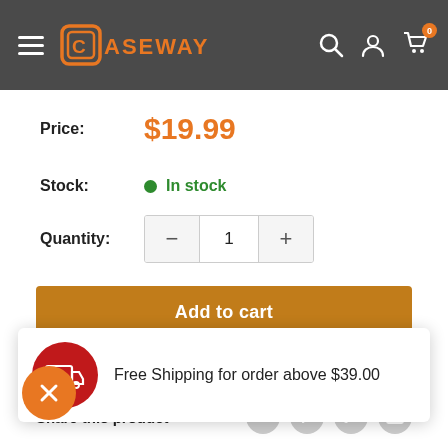Caseway — navigation header with hamburger menu, logo, search, account, cart (0)
Price: $19.99
Stock: In stock
Quantity: 1
Add to cart
Free Shipping for order above $39.00
Share this product